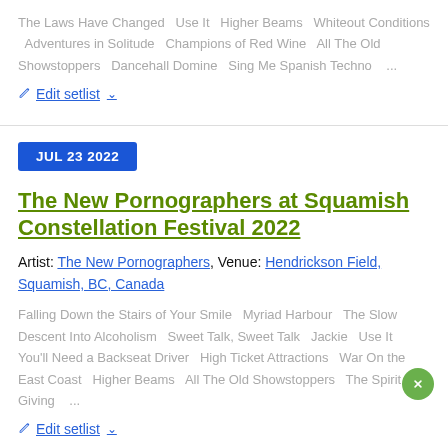The Laws Have Changed   Use It   Higher Beams   Whiteout Conditions   Adventures in Solitude   Champions of Red Wine   All The Old Showstoppers   Dancehall Domine   Sing Me Spanish Techno   ...
✏ Edit setlist ▾
JUL 23 2022
The New Pornographers at Squamish Constellation Festival 2022
Artist: The New Pornographers, Venue: Hendrickson Field, Squamish, BC, Canada
Falling Down the Stairs of Your Smile   Myriad Harbour   The Slow Descent Into Alcoholism   Sweet Talk, Sweet Talk   Jackie   Use It   You'll Need a Backseat Driver   High Ticket Attractions   War On the East Coast   Higher Beams   All The Old Showstoppers   The Spirit of Giving   ...
✏ Edit setlist ▾